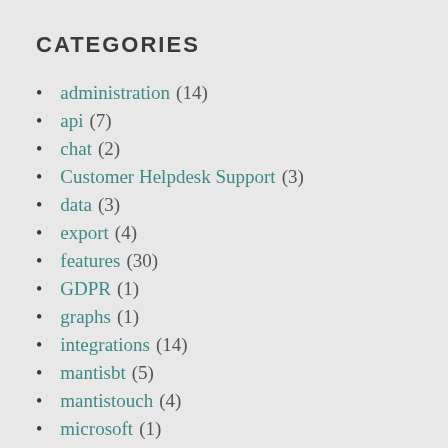CATEGORIES
administration (14)
api (7)
chat (2)
Customer Helpdesk Support (3)
data (3)
export (4)
features (30)
GDPR (1)
graphs (1)
integrations (14)
mantisbt (5)
mantistouch (4)
microsoft (1)
migration (1)